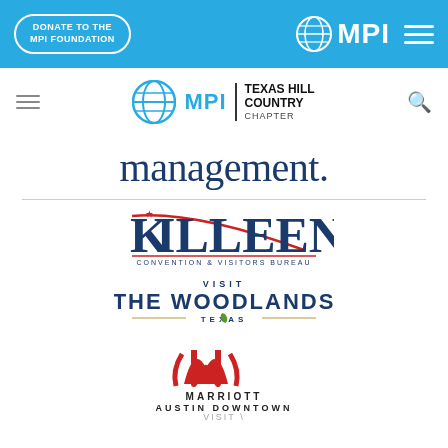DONATE TO THE MPI FOUNDATION | MPI logo | Menu
[Figure (logo): MPI Texas Hill Country Chapter logo with globe icon and chapter name]
management.
[Figure (logo): Killeen Convention & Visitors Bureau logo]
[Figure (logo): Visit The Woodlands Texas logo]
[Figure (logo): Marriott Austin Downtown logo with Marriott M symbol and VISIT text below]